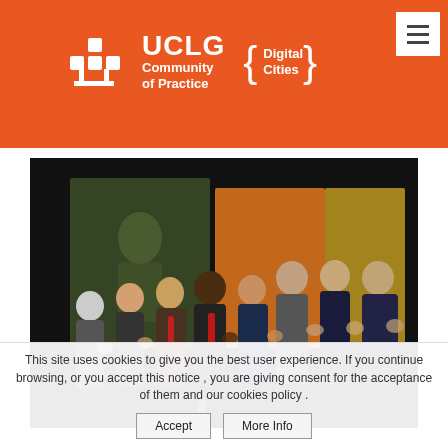[Figure (logo): UCLG Community of Practice Digital Cities logo on orange background with white icon and hamburger menu button]
[Figure (photo): Group of officials standing and applauding on a stage, approximately 8-10 men in suits at what appears to be an official UCLG event]
This site uses cookies to give you the best user experience. If you continue browsing, or you accept this notice , you are giving consent for the acceptance of them and our cookies policy .
Accept
More Info